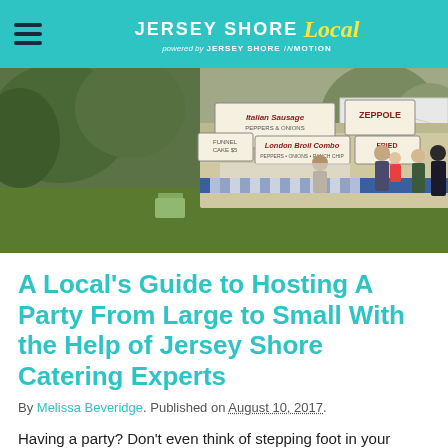JERSEY SHORE Local — powered by JERSEY SHORE inMOTION
[Figure (photo): Outdoor food vendor stalls at a backyard event with signs reading Italian Sausage Peppers & Onions, Zeppole, Funnel Cake $5, London Broil Combo, Fried Onions. People visible on right side of image on grass.]
A Local's Guide to Hosting A Party From Large to Small With the Help of Jersey Shore Catering Experts
By Melissa Beveridge. Published on August 10, 2017.
Having a party? Don't even think of stepping foot in your kitchen. Whether you're hosting a backyard get together,